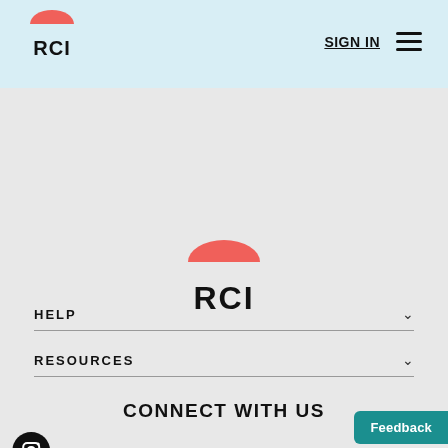RCI | SIGN IN | navigation menu
[Figure (logo): RCI logo centered on page — red/coral bowl shape above bold black RCI text]
HELP
RESOURCES
CONNECT WITH US
[Figure (illustration): Social media icons: Facebook, YouTube, Instagram]